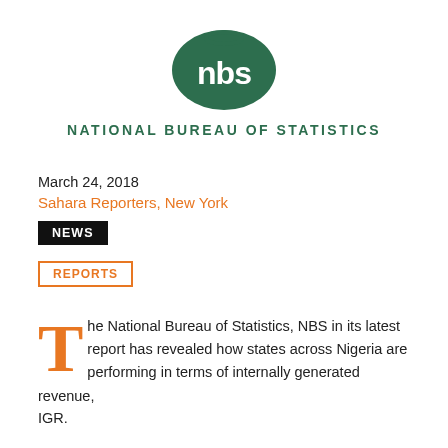[Figure (logo): National Bureau of Statistics (NBS) logo — dark green oval with 'nbs' text in white, and bold green wordmark 'NATIONAL BUREAU OF STATISTICS' below]
March 24, 2018
Sahara Reporters, New York
NEWS
REPORTS
The National Bureau of Statistics, NBS in its latest report has revealed how states across Nigeria are performing in terms of internally generated revenue, IGR.